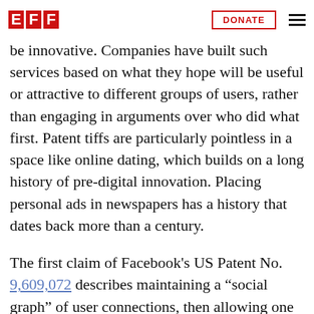EFF | DONATE
Online dating is a perfect example of a software business that traditionally needed patents to be innovative. Companies have built such services based on what they hope will be useful or attractive to different groups of users, rather than engaging in arguments over who did what first. Patent tiffs are particularly pointless in a space like online dating, which builds on a long history of pre-digital innovation. Placing personal ads in newspapers has a history that dates back more than a century.
The first claim of Facebook's US Patent No. 9,609,072 describes maintaining a “social graph” of user connections, then allowing one to request “introductions” to friends-of-friends. Subsequent claims are variations on the theme, like allowing users to include “preferences” and rank their possible matches.